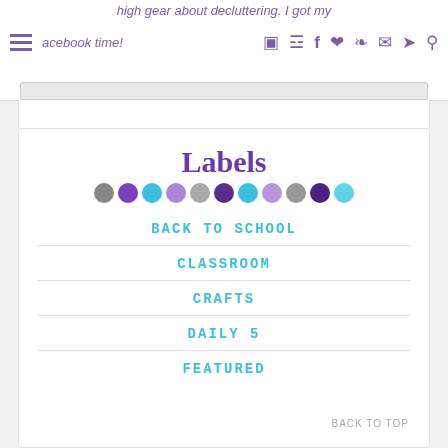high gear about decluttering. I got my facebook time!
[Figure (screenshot): Navigation bar with hamburger menu, social media icons (Instagram, cart, Facebook, heart, Pinterest, email, Twitter, search) in purple]
Labels
[Figure (illustration): Row of decorative dots in gray, purple, cyan, patterned, gray, dark purple, cyan, patterned, gray, dark purple, cyan colors]
BACK TO SCHOOL
CLASSROOM
CRAFTS
DAILY 5
FEATURED
BACK TO TOP